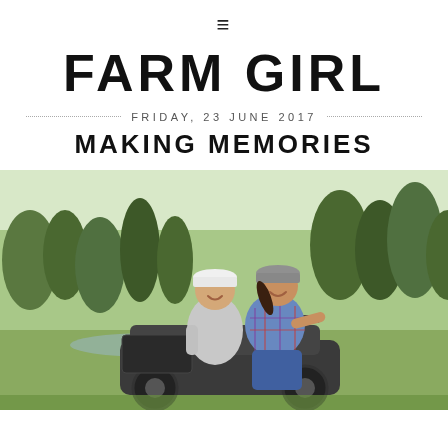≡
FARM GIRL
FRIDAY, 23 JUNE 2017
MAKING MEMORIES
[Figure (photo): Two women riding an ATV/quad bike outdoors in a green meadow with pine trees in the background. The passenger wears a gray hoodie and white cap; the driver wears a blue plaid shirt and gray cap.]